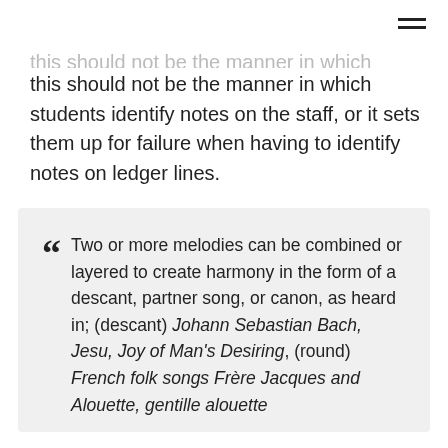this should not be the manner in which students identify notes on the staff, or it sets them up for failure when having to identify notes on ledger lines.
Two or more melodies can be combined or layered to create harmony in the form of a descant, partner song, or canon, as heard in; (descant) Johann Sebastian Bach, Jesu, Joy of Man's Desiring, (round) French folk songs Frère Jacques and Alouette, gentille alouette